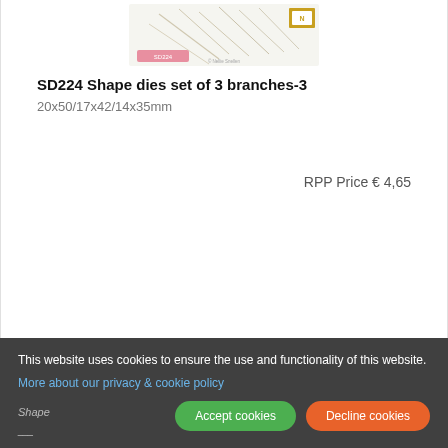[Figure (photo): Product image of SD224 Shape dies set of 3 branches-3, showing a white card with branch die shapes and a pink label reading SD224]
SD224 Shape dies set of 3 branches-3
20x50/17x42/14x35mm
RPP Price € 4,65
This website uses cookies to ensure the use and functionality of this website.
More about our privacy & cookie policy